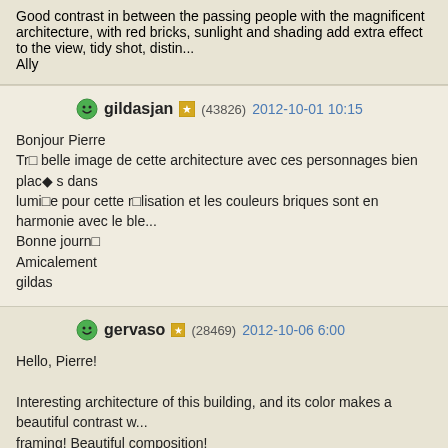Good contrast in between the passing people with the magnificent architecture, with red bricks, sunlight and shading add extra effect to the view, tidy shot, disti...
Ally
gildasjan (43826) 2012-10-01 10:15
Bonjour Pierre
Très belle image de cette architecture avec ces personnages bien placés dans la lumière pour cette réalisation et les couleurs briques sont en harmonie avec le bleu...
Bonne journée
Amicalement
gildas
gervaso (28469) 2012-10-06 6:00
Hello, Pierre!
Interesting architecture of this building, and its color makes a beautiful contrast with framing! Beautiful composition!
Angshu (56760) 2012-10-09 4:46
Hello Pierre
Nice brick structure with good colours & contrast looks nice in the contrasting li...